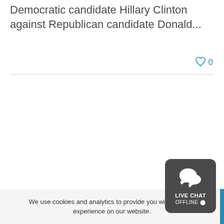Democratic candidate Hillary Clinton against Republican candidate Donald...
[Figure (other): Heart/like icon with count 0 in blue]
We use cookies and analytics to provide you with the best experience on our website.
[Figure (other): Live chat offline widget button with chat bubble icon, dark grey rounded square]